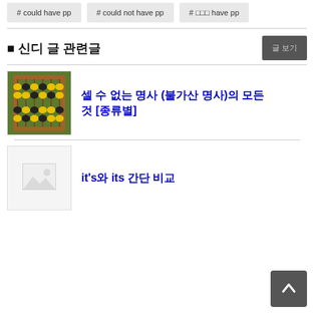# could have pp
# could not have pp
# □□□ have pp
■ 신디 글 관련글
글 보기
[Figure (photo): Abacus with wooden frame and colored beads on green background]
셀 수 없는 명사 (불가산 명사)의 모든 것 [종류별]
[Figure (photo): Placeholder image thumbnail]
it's와 its 간단 비교